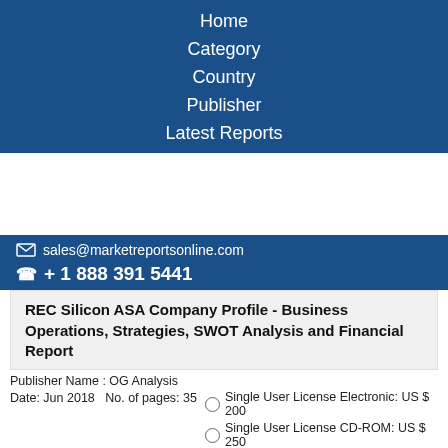Home
Category
Country
Publisher
Latest Reports
✉ sales@marketreportsonline.com
☎ + 1 888 391 5441
REC Silicon ASA Company Profile - Business Operations, Strategies, SWOT Analysis and Financial Report
Publisher Name : OG Analysis
Date: Jun 2018   No. of pages: 35
Single User License Electronic: US $ 200
Single User License CD-ROM: US $ 250
Hard Copy: US $ 300
Site License: US $ 300
Enterprise License: US $ 600
Buy Now